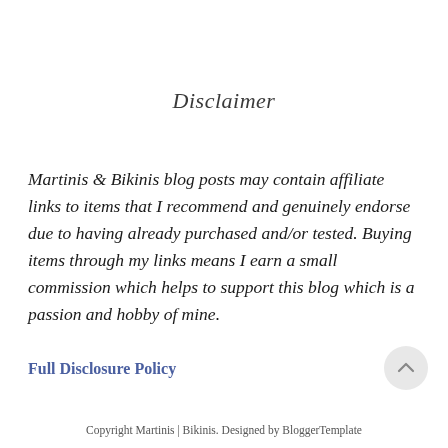Disclaimer
Martinis & Bikinis blog posts may contain affiliate links to items that I recommend and genuinely endorse due to having already purchased and/or tested. Buying items through my links means I earn a small commission which helps to support this blog which is a passion and hobby of mine.
Full Disclosure Policy
Copyright Martinis | Bikinis. Designed by BloggerTemplate